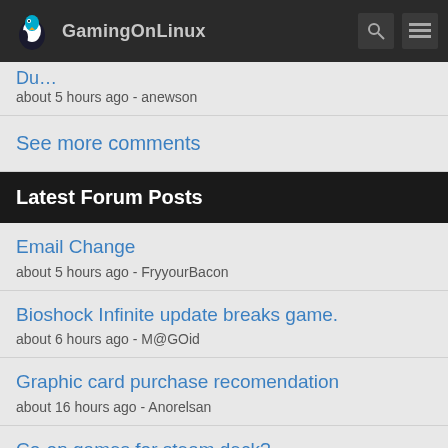GamingOnLinux
Du...
about 5 hours ago - anewson
See more comments
Latest Forum Posts
Email Change
about 5 hours ago - FryyourBacon
Bioshock Infinite update breaks game.
about 6 hours ago - M@GOid
Graphic card purchase recomendation
about 16 hours ago - Anorelsan
Co-op games for steam deck?